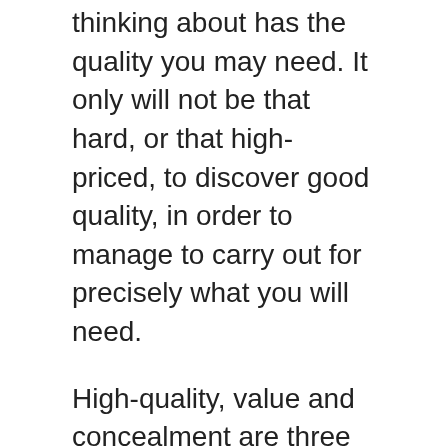thinking about has the quality you may need. It only will not be that hard, or that high-priced, to discover good quality, in order to manage to carry out for precisely what you will need.
High-quality, value and concealment are three of the key options you'll try to find in spy cameras. If you're able to see a digital camera in particular person at a spy store and check out it out, you can also make some judgments about the quality and numerous characteristics. For anyone who is unable golden camera karachi to Check out every one of the cameras you happen to be keen on, you might have to count on info from your companies and third get-togethers who've made use of the cameras. In the